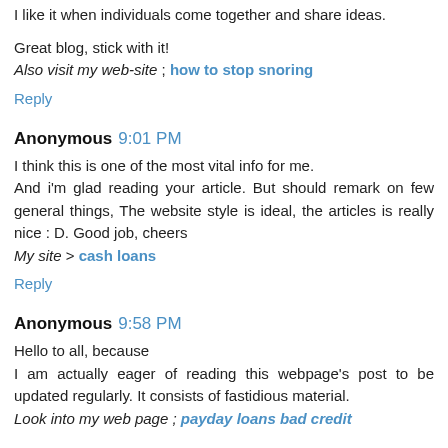I like it when individuals come together and share ideas.
Great blog, stick with it!
Also visit my web-site ; how to stop snoring
Reply
Anonymous 9:01 PM
I think this is one of the most vital info for me. And i'm glad reading your article. But should remark on few general things, The website style is ideal, the articles is really nice : D. Good job, cheers
My site > cash loans
Reply
Anonymous 9:58 PM
Hello to all, because
I am actually eager of reading this webpage's post to be updated regularly. It consists of fastidious material.
Look into my web page ; payday loans bad credit